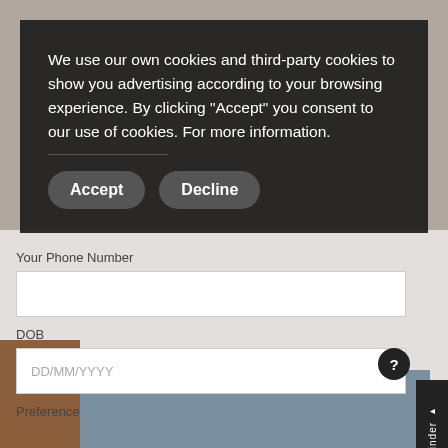[Figure (screenshot): A retail/fashion website page showing a cookie consent overlay on top of a form with fields for phone number, DOB, and preference. Background shows fashion photography. A 'Denim Finder' side tab is on the right edge.]
We use our own cookies and third-party cookies to show you advertising according to your browsing experience. By clicking "Accept" you consent to our use of cookies. For more information.
Accept
Decline
Your Phone Number
DOB
DD/MM/YYYY
Preference